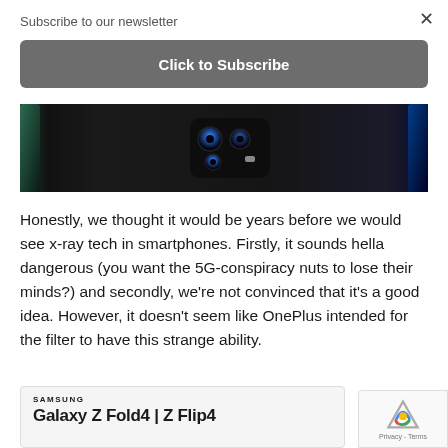Subscribe to our newsletter
Click to Subscribe
[Figure (photo): Close-up of smartphone camera modules on dark background, with green and blue phone edges visible]
Honestly, we thought it would be years before we would see x-ray tech in smartphones. Firstly, it sounds hella dangerous (you want the 5G-conspiracy nuts to lose their minds?) and secondly, we're not convinced that it's a good idea. However, it doesn't seem like OnePlus intended for the filter to have this strange ability.
[Figure (screenshot): Samsung advertisement showing Galaxy Z Fold4 | Z Flip4]
[Figure (logo): reCAPTCHA badge showing Privacy - Terms]